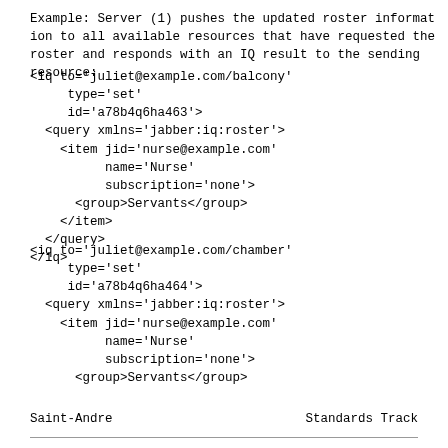Example: Server (1) pushes the updated roster information to all available resources that have requested the roster and responds with an IQ result to the sending resource:
<iq to='juliet@example.com/balcony'
     type='set'
     id='a78b4q6ha463'>
  <query xmlns='jabber:iq:roster'>
    <item jid='nurse@example.com'
          name='Nurse'
          subscription='none'>
      <group>Servants</group>
    </item>
  </query>
</iq>
<iq to='juliet@example.com/chamber'
     type='set'
     id='a78b4q6ha464'>
  <query xmlns='jabber:iq:roster'>
    <item jid='nurse@example.com'
          name='Nurse'
          subscription='none'>
      <group>Servants</group>
Saint-Andre                    Standards Track